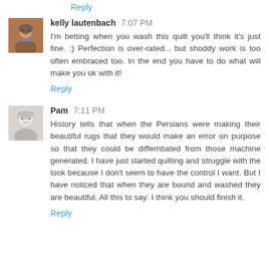Reply
kelly lautenbach 7:07 PM
I'm betting when you wash this quilt you'll think it's just fine. :) Perfection is over-rated... but shoddy work is too often embraced too. In the end you have to do what will make you ok with it!
Reply
Pam 7:11 PM
History tells that when the Persians were making their beautiful rugs that they would make an error on purpose so that they could be differntiated from those machine generated. I have just started quilting and struggle with the look because I don't seem to have the control I want. But I have noticed that when they are bound and washed they are beautiful. All this to say: I think you should finish it.
Reply